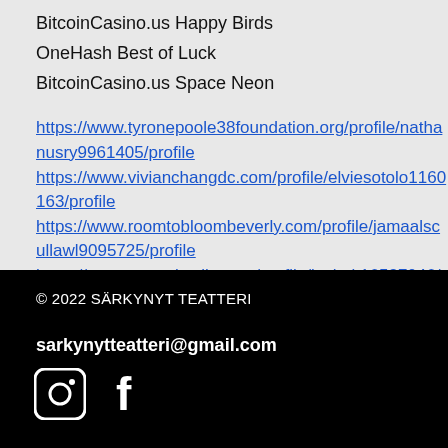BitcoinCasino.us Happy Birds
OneHash Best of Luck
BitcoinCasino.us Space Neon
https://www.tyronepoole38foundation.org/profile/nathanusry9961405/profile https://www.vivianchangdc.com/profile/elviesotolo1160163/profile https://www.roomtobloombeverly.com/profile/jamaalscullawl9095725/profile https://www.mutualsmile.com/profile/jayheit16537046/profile
© 2022 SÄRKYNYT TEATTERI
sarkynytteatteri@gmail.com
[Figure (illustration): Instagram and Facebook social media icons in white on black background]